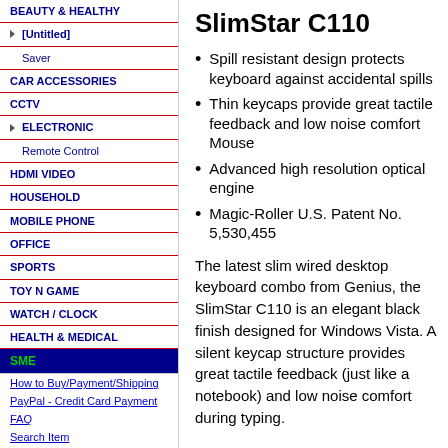BEAUTY & HEALTHY
[Untitled]
Saver
CAR ACCESSORIES
CCTV
ELECTRONIC
Remote Control
HDMI VIDEO
HOUSEHOLD
MOBILE PHONE
OFFICE
SPORTS
TOY N GAME
WATCH / CLOCK
HEALTH & MEDICAL
SME
How to Buy/Payment/Shipping
PayPal - Credit Card Payment
FAQ
Search Item
About Us
While Stock Last Promo
SlimStar C110
Spill resistant design protects keyboard against accidental spills
Thin keycaps provide great tactile feedback and low noise comfort Mouse
Advanced high resolution optical engine
Magic-Roller U.S. Patent No. 5,530,455
The latest slim wired desktop keyboard combo from Genius, the SlimStar C110 is an elegant black finish designed for Windows Vista. A silent keycap structure provides great tactile feedback (just like a notebook) and low noise comfort during typing.